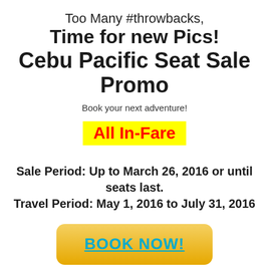Too Many #throwbacks, Time for new Pics! Cebu Pacific Seat Sale Promo
Book your next adventure!
All In-Fare
Sale Period: Up to March 26, 2016 or until seats last.
Travel Period: May 1, 2016 to July 31, 2016
BOOK NOW!